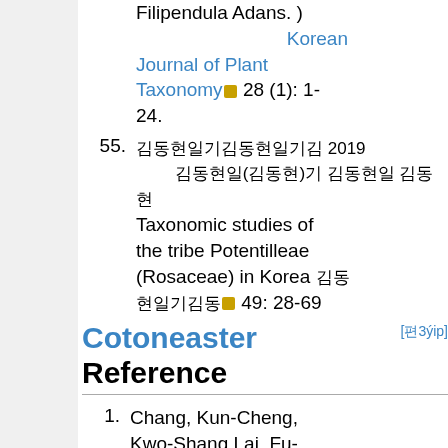Korean Journal of Plant Taxonomy 28 (1): 1-24. [continuation of item about Filipendula Adans.]
55. [Korean characters] 2019 [Korean characters] Taxonomic studies of the tribe Potentilleae (Rosaceae) in Korea [Korean characters] 49: 28-69
Cotoneaster Reference
1. Chang, Kun-Cheng, Kwo-Shang Lai, Fu-Yuan Lu, Chih-Chiang